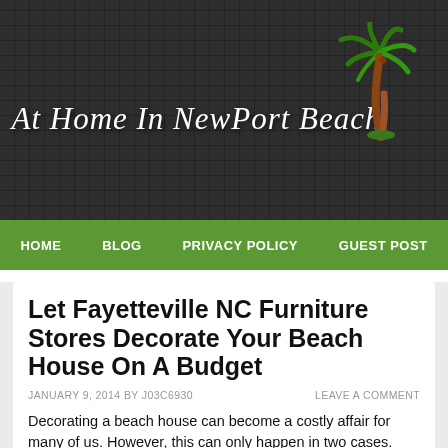At Home In NewPort Beach
HOME   BLOG   PRIVACY POLICY   GUEST POST
Let Fayetteville NC Furniture Stores Decorate Your Beach House On A Budget
JANUARY 9, 2014 BY J03C6930   LEAVE A COMMENT
Decorating a beach house can become a costly affair for many of us. However, this can only happen in two cases.